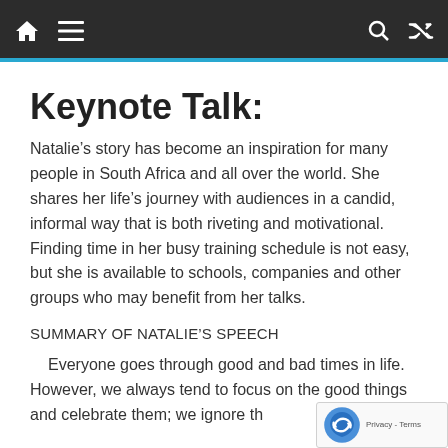Keynote Talk: [navigation bar with home, menu, search, shuffle icons]
Keynote Talk:
Natalie’s story has become an inspiration for many people in South Africa and all over the world. She shares her life’s journey with audiences in a candid, informal way that is both riveting and motivational. Finding time in her busy training schedule is not easy, but she is available to schools, companies and other groups who may benefit from her talks.
SUMMARY OF NATALIE’S SPEECH
Everyone goes through good and bad times in life. However, we always tend to focus on the good things and celebrate them; we ignore th… bad things which often entangle after us…